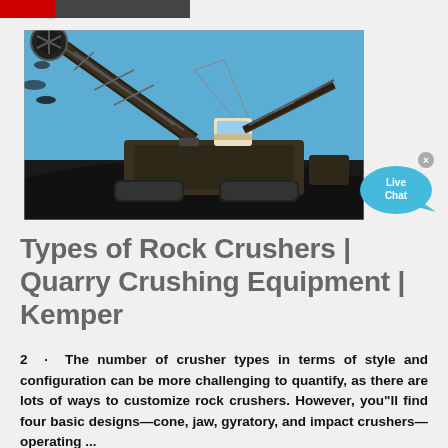[Red and dark navigation bar]
[Figure (photo): Large industrial mining bucket-wheel excavator machine against a blue sky, operating over a dark coal or rock pile. Heavy machinery with lattice boom structure, operator cabin, and conveyor system.]
[Figure (illustration): Live Chat speech bubble icon in cyan/blue color with 'Live Chat' text and a small close (x) button.]
Types of Rock Crushers | Quarry Crushing Equipment | Kemper
2  ·  The number of crusher types in terms of style and configuration can be more challenging to quantify, as there are lots of ways to customize rock crushers. However, you"ll find four basic designs—cone, jaw, gyratory, and impact crushers—operating ...